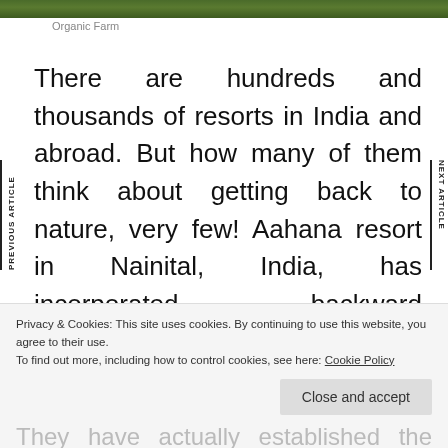[Figure (photo): Top strip of an image showing organic farm greenery/vegetation]
Organic Farm
There are hundreds and thousands of resorts in India and abroad. But how many of them think about getting back to nature, very few! Aahana resort in Nainital, India, has incorporated backward integration in tandem with nature. So they have cows for the supply of dairy products, organic farm
They have actually established the whole
Privacy & Cookies: This site uses cookies. By continuing to use this website, you agree to their use.
To find out more, including how to control cookies, see here: Cookie Policy
Close and accept